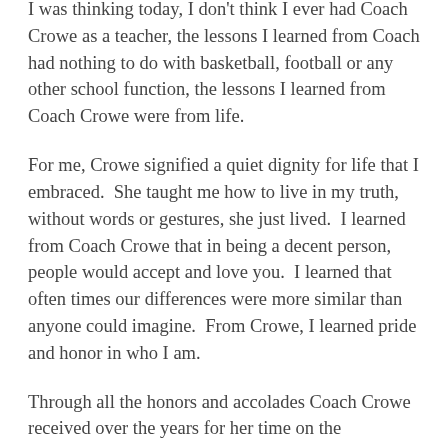I was thinking today, I don't think I ever had Coach Crowe as a teacher, the lessons I learned from Coach had nothing to do with basketball, football or any other school function, the lessons I learned from Coach Crowe were from life.
For me, Crowe signified a quiet dignity for life that I embraced.  She taught me how to live in my truth, without words or gestures, she just lived.  I learned from Coach Crowe that in being a decent person, people would accept and love you.  I learned that often times our differences were more similar than anyone could imagine.  From Crowe, I learned pride and honor in who I am.
Through all the honors and accolades Coach Crowe received over the years for her time on the basketball court and in the classroom, I am sure she realized how important she was.... I just hope that in some way, she knew how important her life was for kids like me.
Coach Crowe was tough, she was a competitor, she lived to win and she let every kid she ever encountered know they were loved.  Coach Crowe lived a life of dignified grace and for that all of us were